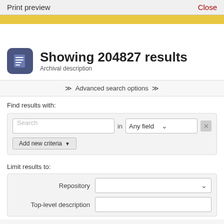Print preview    Close
Showing 204827 results
Archival description
Advanced search options
Find results with:
Search  in  Any field  ×
Add new criteria
Limit results to:
Repository
Top-level description